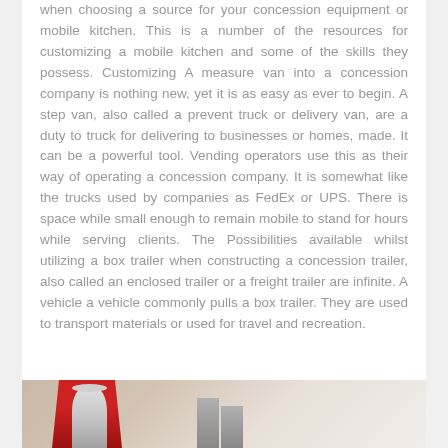when choosing a source for your concession equipment or mobile kitchen. This is a number of the resources for customizing a mobile kitchen and some of the skills they possess. Customizing A measure van into a concession company is nothing new, yet it is as easy as ever to begin. A step van, also called a prevent truck or delivery van, are a duty to truck for delivering to businesses or homes, made. It can be a powerful tool. Vending operators use this as their way of operating a concession company. It is somewhat like the trucks used by companies as FedEx or UPS. There is space while small enough to remain mobile to stand for hours while serving clients. The Possibilities available whilst utilizing a box trailer when constructing a concession trailer, also called an enclosed trailer or a freight trailer are infinite. A vehicle a vehicle commonly pulls a box trailer. They are used to transport materials or used for travel and recreation.
[Figure (photo): Photograph showing kitchen or concession-related items including what appears to be a blender or mixer in red and a metallic cylindrical container, with blurred background.]